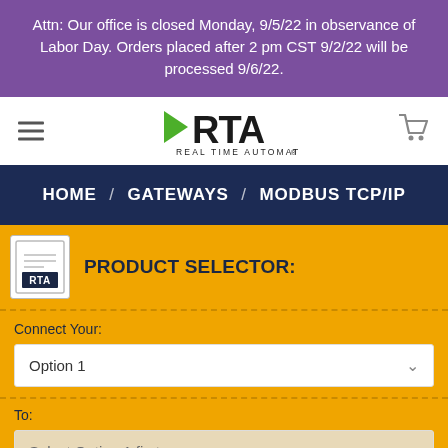Attn: Our office is closed Monday, 9/5/22 in observance of Labor Day. Orders placed after 2 pm CST 9/2/22 will be processed 9/6/22.
[Figure (logo): Real Time Automation (RTA) logo with green arrow and bold RTA text, REAL TIME AUTOMATION subtitle]
HOME / GATEWAYS / MODBUS TCP/IP
PRODUCT SELECTOR:
Connect Your:
Option 1
To:
Select Option 1 first